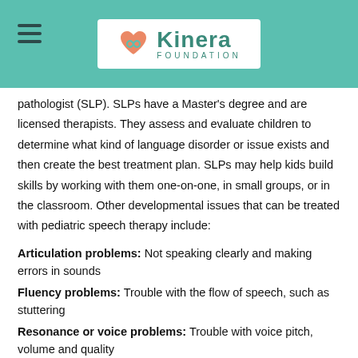Kinera Foundation
pathologist (SLP). SLPs have a Master's degree and are licensed therapists. They assess and evaluate children to determine what kind of language disorder or issue exists and then create the best treatment plan. SLPs may help kids build skills by working with them one-on-one, in small groups, or in the classroom. Other developmental issues that can be treated with pediatric speech therapy include:
Articulation problems: Not speaking clearly and making errors in sounds
Fluency problems: Trouble with the flow of speech, such as stuttering
Resonance or voice problems: Trouble with voice pitch, volume and quality
Oral feeding problems: Difficulty with eating, swallowing and